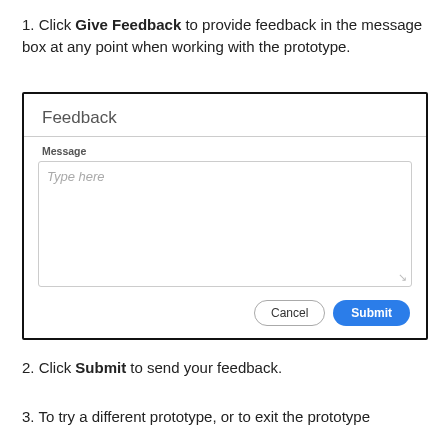1. Click Give Feedback to provide feedback in the message box at any point when working with the prototype.
[Figure (screenshot): Screenshot of a Feedback dialog box showing a title 'Feedback', a 'Message' label, a text area with placeholder 'Type here', a Cancel button, and a blue Submit button.]
2. Click Submit to send your feedback.
3. To try a different prototype, or to exit the prototype